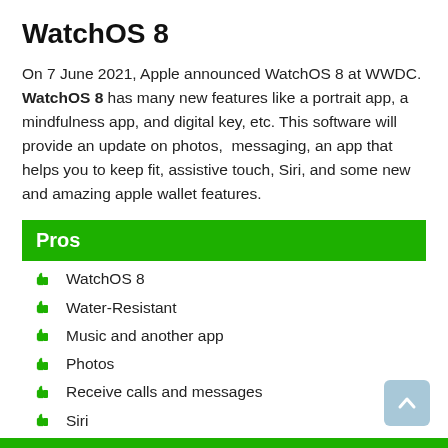WatchOS 8
On 7 June 2021, Apple announced WatchOS 8 at WWDC. WatchOS 8 has many new features like a portrait app, a mindfulness app, and digital key, etc. This software will provide an update on photos,  messaging, an app that helps you to keep fit, assistive touch, Siri, and some new and amazing apple wallet features.
Pros
WatchOS 8
Water-Resistant
Music and another app
Photos
Receive calls and messages
Siri
Long battery life